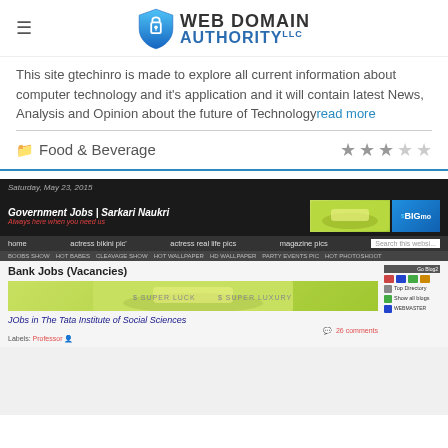WEB DOMAIN AUTHORITY LLC
This site gtechinro is made to explore all current information about computer technology and it's application and it will contain latest News, Analysis and Opinion about the future of Technology read more
Food & Beverage ★★★☆☆
[Figure (screenshot): Screenshot of a website called 'Government Jobs | Sarkari Naukri' showing job listings including 'Bank Jobs (Vacancies)' and 'JObs in The Tata Institute of Social Sciences', with navigation menu, banner ads, and a sidebar]